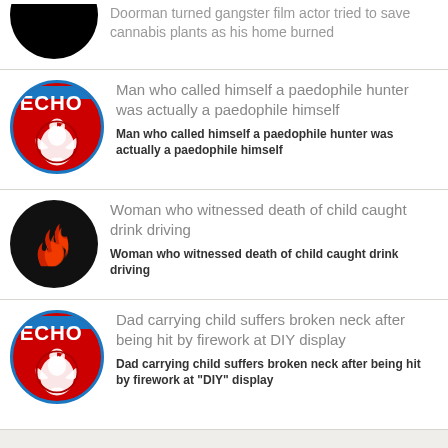Doorman turned gangster film actor tried to save cannabis plants as his home burned
Man who called himself a paedophile hunter was actually a paedophile himself
Man who called himself a paedophile hunter was actually a paedophile himself
Woman who witnessed death of child caught drink driving
Woman who witnessed death of child caught drink driving
Dad carrying child suffers broken neck after being hit by firework at DIY display
Dad carrying child suffers broken neck after being hit by firework at "DIY" display